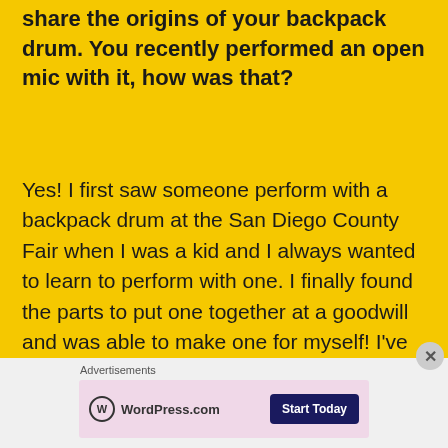share the origins of your backpack drum. You recently performed an open mic with it, how was that?
Yes! I first saw someone perform with a backpack drum at the San Diego County Fair when I was a kid and I always wanted to learn to perform with one. I finally found the parts to put one together at a goodwill and was able to make one for myself! I've played a few open mics with it lately, and also played my first full concert with it in April. They've all gone really well and I love getting to perform
Advertisements
[Figure (other): WordPress.com advertisement banner with logo on left and 'Start Today' button on right, pink/lavender background]